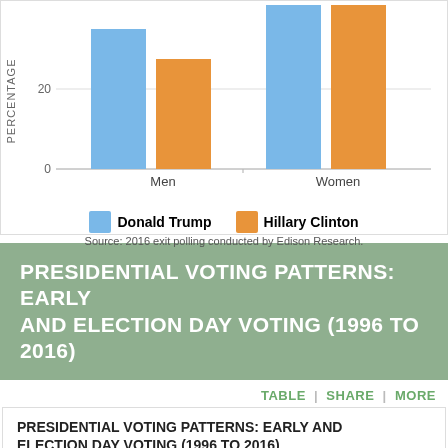[Figure (grouped-bar-chart): Presidential Vote by Gender]
Source: 2016 exit polling conducted by Edison Research.
PRESIDENTIAL VOTING PATTERNS: EARLY AND ELECTION DAY VOTING (1996 TO 2016)
PRESIDENTIAL VOTING PATTERNS: EARLY AND ELECTION DAY VOTING (1996 TO 2016)
For 15 largest Texas counties.